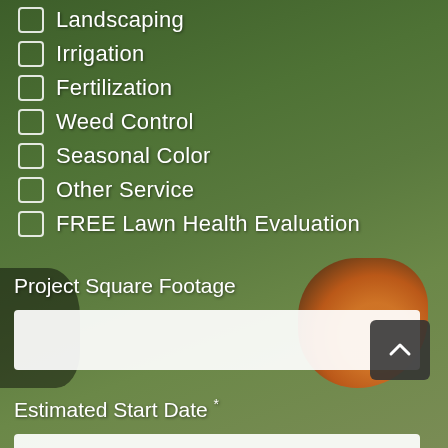Landscaping
Irrigation
Fertilization
Weed Control
Seasonal Color
Other Service
FREE Lawn Health Evaluation
Project Square Footage
Estimated Start Date *